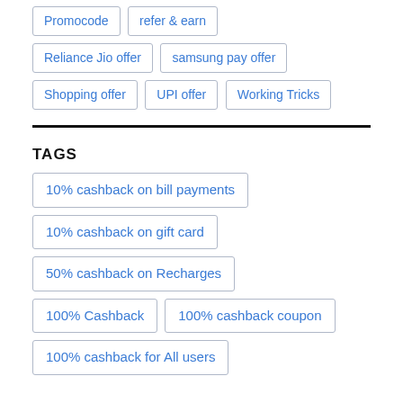Promocode
refer & earn
Reliance Jio offer
samsung pay offer
Shopping offer
UPI offer
Working Tricks
TAGS
10% cashback on bill payments
10% cashback on gift card
50% cashback on Recharges
100% Cashback
100% cashback coupon
100% cashback for All users